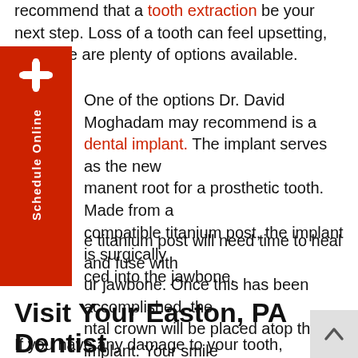recommend that a tooth extraction be your next step. Loss of a tooth can feel upsetting, but there are plenty of options available.
One of the options Dr. David Moghadam may recommend is a dental implant. The implant serves as the new permanent root for a prosthetic tooth. Made from a biocompatible titanium post, the implant is surgically placed into the jawbone.
The titanium post will need time to heal and fuse with your jawbone. Once this has been accomplished, the dental crown will be placed atop the implant. Your smile will be restored, good as new!
Visit Your Easton, PA Dentist
If you have any damage to your tooth, whether it is broken or cracked, you will need to be seen by a professional. From there, you will undergo a full-mouth examination and then you'll be given a treatment plan.